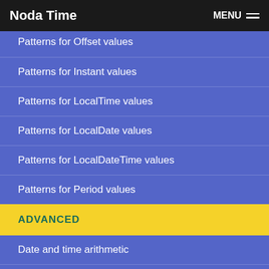Noda Time  MENU
Patterns for Offset values
Patterns for Instant values
Patterns for LocalTime values
Patterns for LocalDate values
Patterns for LocalDateTime values
Patterns for Period values
ADVANCED
Date and time arithmetic
BCL conversions
Serialization
Threading